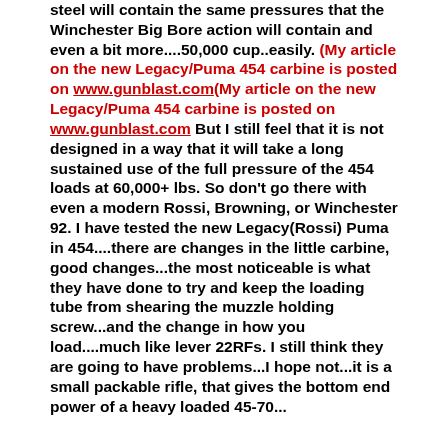steel will contain the same pressures that the Winchester Big Bore action will contain and even a bit more....50,000 cup..easily. (My article on the new Legacy/Puma 454 carbine is posted on www.gunblast.com(My article on the new Legacy/Puma 454 carbine is posted on www.gunblast.com But I still feel that it is not designed in a way that it will take a long sustained use of the full pressure of the 454 loads at 60,000+ lbs. So don't go there with even a modern Rossi, Browning, or Winchester 92. I have tested the new Legacy(Rossi) Puma in 454....there are changes in the little carbine, good changes...the most noticeable is what they have done to try and keep the loading tube from shearing the muzzle holding screw...and the change in how you load....much like lever 22RFs. I still think they are going to have problems...I hope not...it is a small packable rifle, that gives the bottom end power of a heavy loaded 45-70...